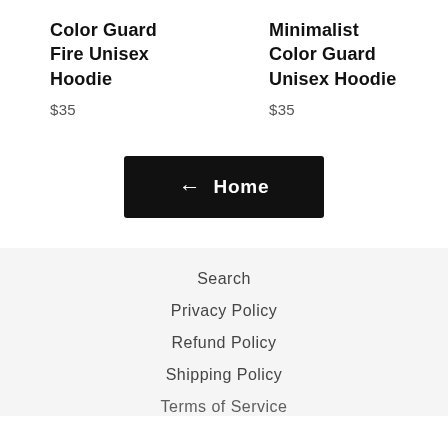Color Guard Fire Unisex Hoodie
$35
Minimalist Color Guard Unisex Hoodie
$35
← Home
Search
Privacy Policy
Refund Policy
Shipping Policy
Terms of Service